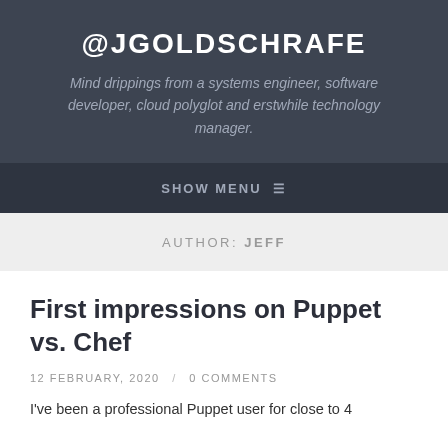@JGOLDSCHRAFE
Mind drippings from a systems engineer, software developer, cloud polyglot and erstwhile technology manager.
SHOW MENU ≡
AUTHOR: JEFF
First impressions on Puppet vs. Chef
12 FEBRUARY, 2020 / 0 COMMENTS
I've been a professional Puppet user for close to 4